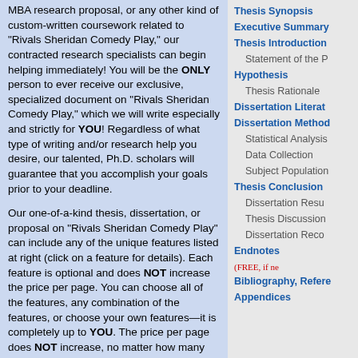MBA research proposal, or any other kind of custom-written coursework related to "Rivals Sheridan Comedy Play," our contracted research specialists can begin helping immediately!  You will be the ONLY person to ever receive our exclusive, specialized document on "Rivals Sheridan Comedy Play," which we will write especially and strictly for YOU!  Regardless of what type of writing and/or research help you desire, our talented, Ph.D. scholars will guarantee that you accomplish your goals prior to your deadline.
Our one-of-a-kind thesis, dissertation, or proposal on "Rivals Sheridan Comedy Play" can include any of the unique features listed at right (click on a feature for details).  Each feature is optional and does NOT increase the price per page.  You can choose all of the features, any combination of the features, or choose your own features—it is completely up to YOU.  The price per page does NOT increase, no matter how many features you choose.  You will be charged ONLY for the total number of pages that you order.  If you would like a feature that is not listed at right, we will include that feature at your request.  On a case-by-case basis, we can also
Thesis Synopsis
Executive Summary
Thesis Introduction
Statement of the P
Hypothesis
Thesis Rationale
Dissertation Literat
Dissertation Method
Statistical Analysis
Data Collection
Subject Population
Thesis Conclusion
Dissertation Results
Thesis Discussion
Dissertation Reco
Endnotes (FREE, if ne
Bibliography, Refere
Appendices